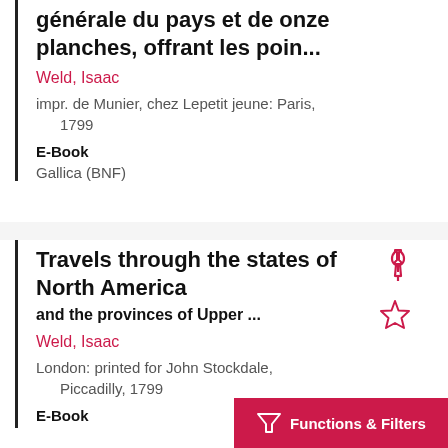générale du pays et de onze planches, offrant les poin...
Weld, Isaac
impr. de Munier, chez Lepetit jeune: Paris, 1799
E-Book
Gallica (BNF)
Travels through the states of North America
and the provinces of Upper ...
Weld, Isaac
London: printed for John Stockdale, Piccadilly, 1799
E-Book
Functions & Filters